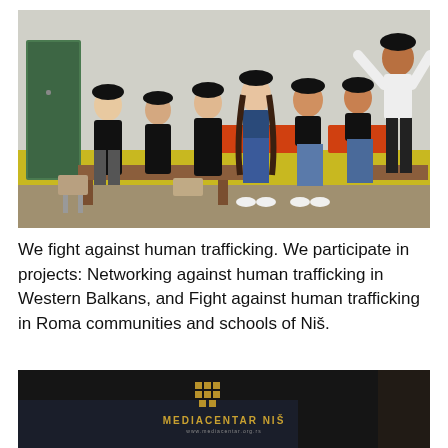[Figure (photo): Group of young people wearing black caps and t-shirts posing in a classroom setting with desks and chairs. Yellow wainscoting on the wall behind them.]
We fight against human trafficking. We participate in projects: Networking against human trafficking in Western Balkans, and Fight against human trafficking in Roma communities and schools of Niš.
[Figure (photo): Dark room with a sign reading MEDIACENTAR NIŠ with a logo above it.]